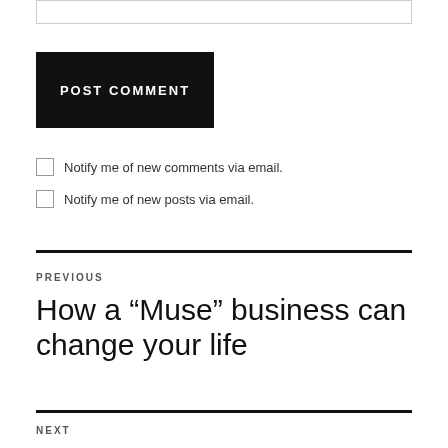[Figure (other): Input text box (partial, top of page)]
POST COMMENT
Notify me of new comments via email.
Notify me of new posts via email.
PREVIOUS
How a “Muse” business can change your life
NEXT